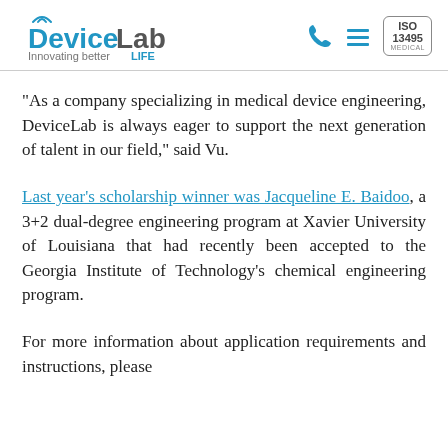DeviceLab – Innovating better LIFE | ISO 13485 MEDICAL
“As a company specializing in medical device engineering, DeviceLab is always eager to support the next generation of talent in our field,” said Vu.
Last year’s scholarship winner was Jacqueline E. Baidoo, a 3+2 dual-degree engineering program at Xavier University of Louisiana that had recently been accepted to the Georgia Institute of Technology’s chemical engineering program.
For more information about application requirements and instructions, please